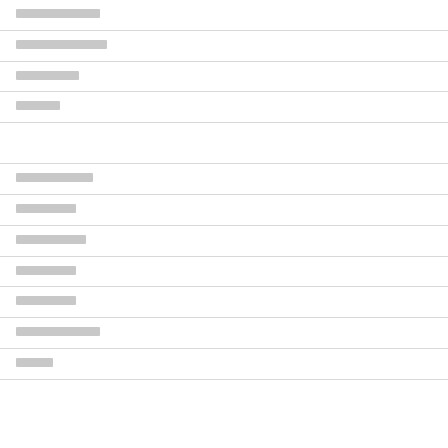████████████
█████████████
█████████
██████
███████████
█████████
██████████
█████████
█████████
████████████
█████